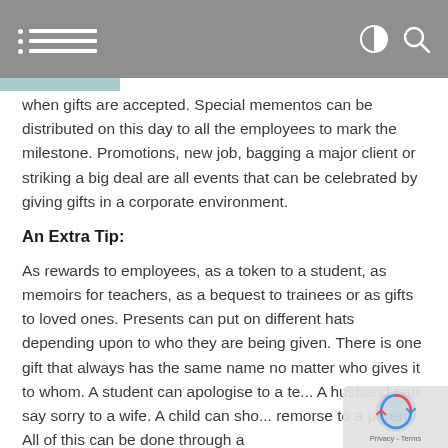Navigation header with hamburger menu and search/contrast icons
when gifts are accepted. Special mementos can be distributed on this day to all the employees to mark the milestone. Promotions, new job, bagging a major client or striking a big deal are all events that can be celebrated by giving gifts in a corporate environment.
An Extra Tip:
As rewards to employees, as a token to a student, as memoirs for teachers, as a bequest to trainees or as gifts to loved ones. Presents can put on different hats depending upon to who they are being given. There is one gift that always has the same name no matter who gives it to whom. A student can apologise to a te... A husband can say sorry to a wife. A child can sho... remorse to a parent. All of this can be done through a